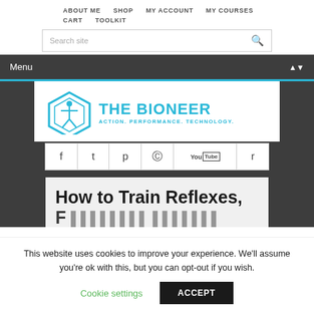ABOUT ME  SHOP  MY ACCOUNT  MY COURSES  CART  TOOLKIT
Search site
Menu
[Figure (logo): The Bioneer logo with hexagon figure icon and text: THE BIONEER ACTION. PERFORMANCE. TECHNOLOGY. in cyan/blue]
[Figure (infographic): Social media icons row: Facebook, Twitter, Pinterest, Instagram, YouTube, RSS]
How to Train Reflexes,
This website uses cookies to improve your experience. We'll assume you're ok with this, but you can opt-out if you wish.
Cookie settings  ACCEPT